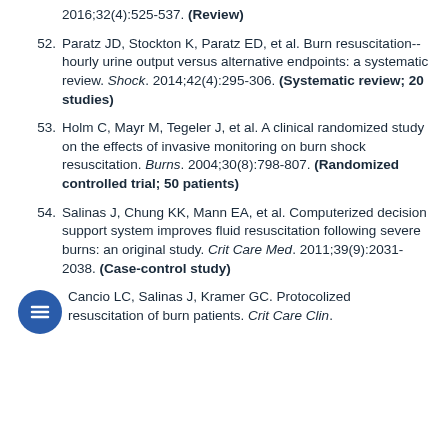2016;32(4):525-537. (Review)
52. Paratz JD, Stockton K, Paratz ED, et al. Burn resuscitation--hourly urine output versus alternative endpoints: a systematic review. Shock. 2014;42(4):295-306. (Systematic review; 20 studies)
53. Holm C, Mayr M, Tegeler J, et al. A clinical randomized study on the effects of invasive monitoring on burn shock resuscitation. Burns. 2004;30(8):798-807. (Randomized controlled trial; 50 patients)
54. Salinas J, Chung KK, Mann EA, et al. Computerized decision support system improves fluid resuscitation following severe burns: an original study. Crit Care Med. 2011;39(9):2031-2038. (Case-control study)
55. Cancio LC, Salinas J, Kramer GC. Protocolized resuscitation of burn patients. Crit Care Clin.